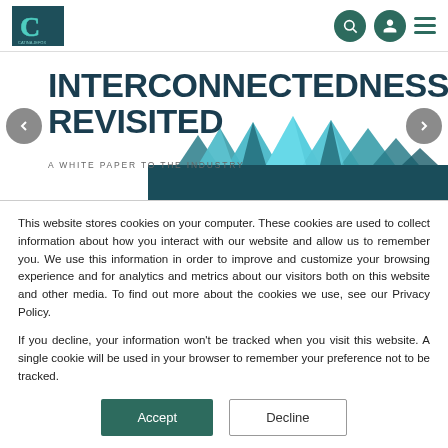Navigation bar with logo and icons
[Figure (screenshot): Hero banner showing 'INTERCONNECTEDNESS REVISITED' title with subtitle 'A WHITE PAPER TO THE INDUSTRY' and a 3D wave/mountain graphic on the right, with left and right carousel navigation arrows]
This website stores cookies on your computer. These cookies are used to collect information about how you interact with our website and allow us to remember you. We use this information in order to improve and customize your browsing experience and for analytics and metrics about our visitors both on this website and other media. To find out more about the cookies we use, see our Privacy Policy.
If you decline, your information won't be tracked when you visit this website. A single cookie will be used in your browser to remember your preference not to be tracked.